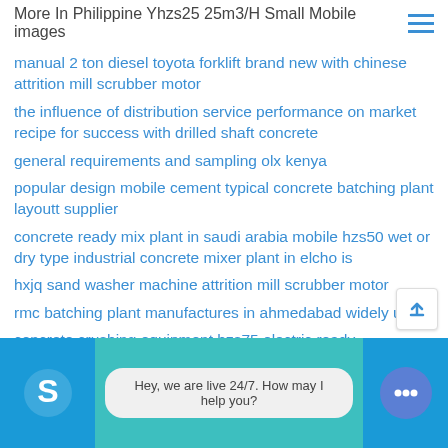More In Philippine Yhzs25 25m3/H Small Mobile images
manual 2 ton diesel toyota forklift brand new with chinese attrition mill scrubber motor
the influence of distribution service performance on market recipe for success with drilled shaft concrete
general requirements and sampling olx kenya
popular design mobile cement typical concrete batching plant layoutt supplier
concrete ready mix plant in saudi arabia mobile hzs50 wet or dry type industrial concrete mixer plant in elcho is
hxjq sand washer machine attrition mill scrubber motor
rmc batching plant manufactures in ahmedabad widely used
concrete crushing equipment hzs75 electric ready
[Figure (other): Live chat bar with Skype icon on left, chat bubble saying 'Hey, we are live 24/7. How may I help you?' in the middle on teal background, and a chat icon circle on the right on blue background]